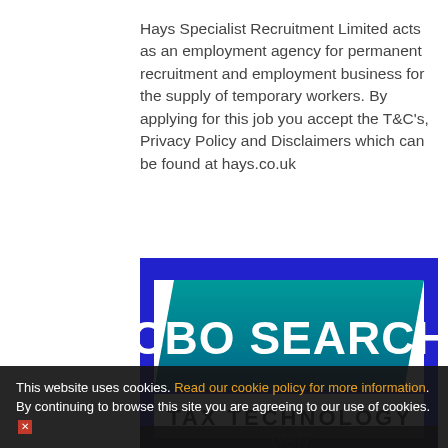Hays Specialist Recruitment Limited acts as an employment agency for permanent recruitment and employment business for the supply of temporary workers. By applying for this job you accept the T&C's, Privacy Policy and Disclaimers which can be found at hays.co.uk
[Figure (logo): CBO SEARCH TAX TECHNOLOGY logo on a blue background with white and teal text]
This website uses cookies. Read our cookie policy for more information. By continuing to browse this site you are agreeing to our use of cookies.